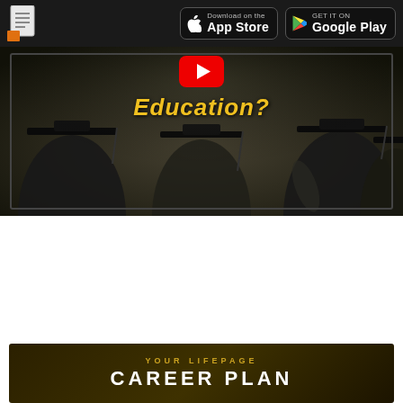[Figure (screenshot): Dark header bar with document icon on the left and App Store and Google Play download buttons on the right]
[Figure (photo): Graduation ceremony photo showing graduates in caps viewed from behind, with yellow italic 'Education?' text and YouTube play button overlay]
[Figure (screenshot): LifePage career plan banner section with dark background, 'YOUR LIFEPAGE' in gold and 'CAREER PLAN' in white large bold text]